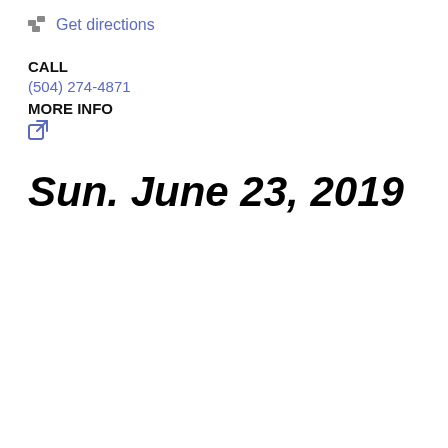Get directions
CALL
(504) 274-4871
MORE INFO
[Figure (other): External link icon (square with arrow pointing out)]
Sun. June 23, 2019